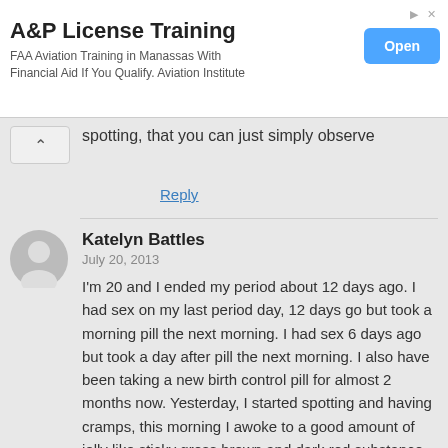[Figure (screenshot): Advertisement banner for A&P License Training. Title: 'A&P License Training'. Subtitle: 'FAA Aviation Training in Manassas With Financial Aid If You Qualify. Aviation Institute'. Blue 'Open' button on right. Small arrow and X icons top right.]
spotting, that you can just simply observe
Reply
Katelyn Battles
July 20, 2013

I'm 20 and I ended my period about 12 days ago. I had sex on my last period day, 12 days go but took a morning pill the next morning. I had sex 6 days ago but took a day after pill the next morning. I also have been taking a new birth control pill for almost 2 months now. Yesterday, I started spotting and having cramps, this morning I awoke to a good amount of jelly like sticky gross brown and dark red substance. Throughout the day it got brighter in red.I have been wearing a pad but it isn't heavy to the point of changing it at all. It usually only passes